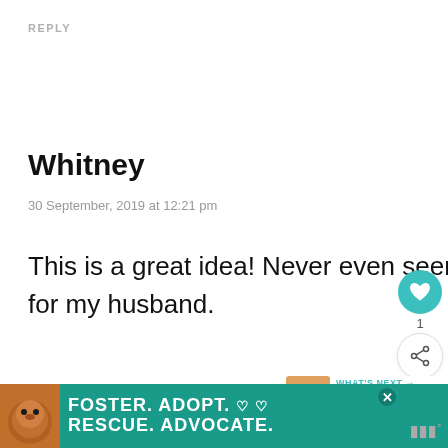REPLY
Whitney
30 September, 2019 at 12:21 pm
This is a great idea! Never even seen this before. This would be the perfect gift for my husband.
REPLY
[Figure (infographic): Ad banner: Foster. Adopt. Rescue. Advocate. with dog photo on teal background]
[Figure (infographic): What's Next: Japan Crate Box Review with thumbnail]
[Figure (infographic): Heart/share widget with teal heart button showing count 1 and share button]